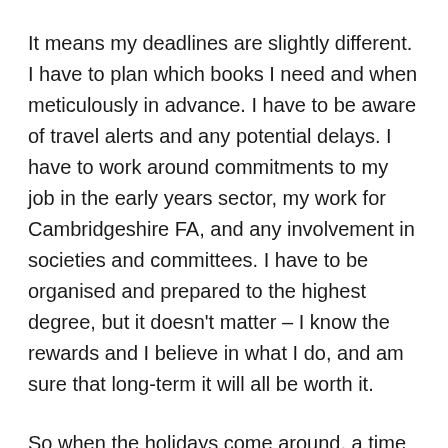It means my deadlines are slightly different. I have to plan which books I need and when meticulously in advance. I have to be aware of travel alerts and any potential delays. I have to work around commitments to my job in the early years sector, my work for Cambridgeshire FA, and any involvement in societies and committees. I have to be organised and prepared to the highest degree, but it doesn't matter – I know the rewards and I believe in what I do, and am sure that long-term it will all be worth it.
So when the holidays come around, a time portrayed in children's literature as one of enjoyment and exploration, I can relate even more so than when I was